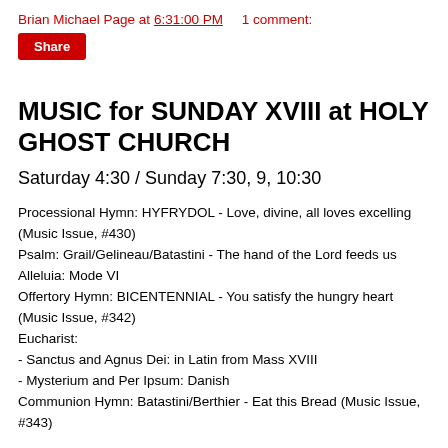Brian Michael Page at 6:31:00 PM    1 comment:
Share
MUSIC for SUNDAY XVIII at HOLY GHOST CHURCH
Saturday 4:30 / Sunday 7:30, 9, 10:30
Processional Hymn: HYFRYDOL - Love, divine, all loves excelling (Music Issue, #430)
Psalm: Grail/Gelineau/Batastini - The hand of the Lord feeds us
Alleluia: Mode VI
Offertory Hymn: BICENTENNIAL - You satisfy the hungry heart (Music Issue, #342)
Eucharist:
- Sanctus and Agnus Dei: in Latin from Mass XVIII
- Mysterium and Per Ipsum: Danish
Communion Hymn: Batastini/Berthier - Eat this Bread (Music Issue, #343)